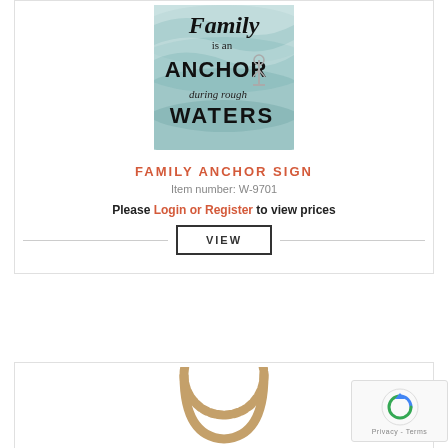[Figure (photo): Product image of a wooden sign with text: 'Family is an ANCHOR during rough WATERS' with a silver anchor charm, on a teal/aqua watercolor background.]
FAMILY ANCHOR SIGN
Item number: W-9701
Please Login or Register to view prices
VIEW
[Figure (photo): Bottom portion of a second product, showing a circular woven or rope-style wreath/hoop in tan/brown color on white background.]